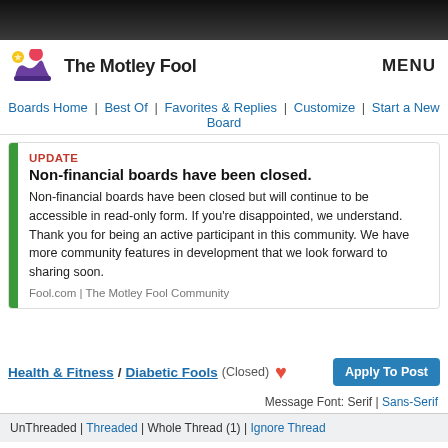The Motley Fool — MENU
Boards Home | Best Of | Favorites & Replies | Customize | Start a New Board
UPDATE
Non-financial boards have been closed.
Non-financial boards have been closed but will continue to be accessible in read-only form. If you're disappointed, we understand. Thank you for being an active participant in this community. We have more community features in development that we look forward to sharing soon.
Fool.com | The Motley Fool Community
Health & Fitness / Diabetic Fools (Closed)
Message Font: Serif | Sans-Serif
UnThreaded | Threaded | Whole Thread (1) | Ignore Thread